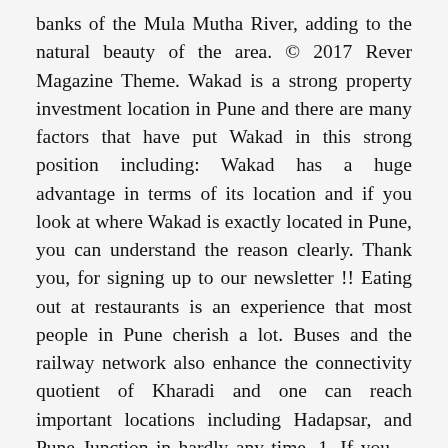banks of the Mula Mutha River, adding to the natural beauty of the area. © 2017 Rever Magazine Theme. Wakad is a strong property investment location in Pune and there are many factors that have put Wakad in this strong position including: Wakad has a huge advantage in terms of its location and if you look at where Wakad is exactly located in Pune, you can understand the reason clearly. Thank you, for signing up to our newsletter !! Eating out at restaurants is an experience that most people in Pune cherish a lot. Buses and the railway network also enhance the connectivity quotient of Kharadi and one can reach important locations including Hadapsar, and Pune Junction in hardly any time. 1. If you ... The Pimpri-Chinchwad Smart City program has multiple developments in store. Anisha Global School, NIBM Road, Kad Nagar, Mohammed Wadi. Some of the well-known colleges in Baner include: Vishveshwarya Group of Institution on Baner – Balewadi Road, Ethics Institute of Management and Technology at Shriram Yashoda Tower, Baner Road, Aditya Horizon School & Jr. college on Pan Card Club Rd, Samarth Colony, Sanjay